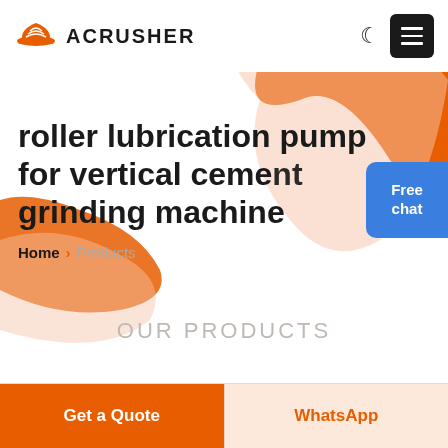[Figure (logo): Acrusher logo with orange hard hat icon and bold ACRUSHER text]
roller lubrication pump for vertical cement grinding machine
Home > Products
OUR PRODUCTS
Get a Quote
WhatsApp